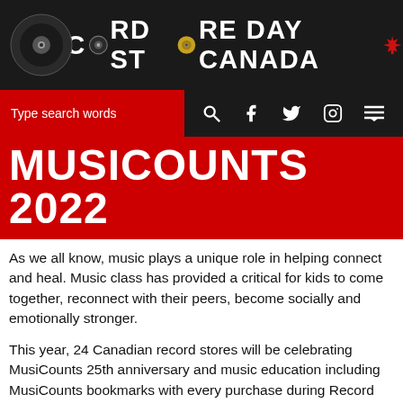[Figure (logo): Record Store Day Canada logo banner with vinyl records and maple leaf on black background]
Type search words  [search icon] [facebook icon] [twitter icon] [instagram icon] [menu icon]
MUSICOUNTS 2022
As we all know, music plays a unique role in helping connect and heal. Music class has provided a critical for kids to come together, reconnect with their peers, become socially and emotionally stronger.
This year, 24 Canadian record stores will be celebrating MusiCounts 25th anniversary and music education including MusiCounts bookmarks with every purchase during Record Store Day. Come by and help raise awareness about MusiCounts and the communities they serve.